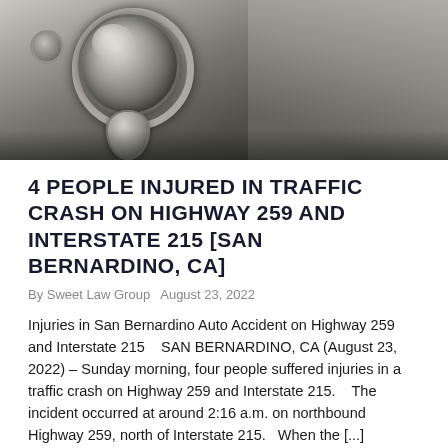[Figure (photo): Close-up photograph of a vintage car headlight with chrome ring and teardrop ornament, dark moody tones]
4 PEOPLE INJURED IN TRAFFIC CRASH ON HIGHWAY 259 AND INTERSTATE 215 [SAN BERNARDINO, CA]
By Sweet Law Group  August 23, 2022
Injuries in San Bernardino Auto Accident on Highway 259 and Interstate 215   SAN BERNARDINO, CA (August 23, 2022) – Sunday morning, four people suffered injuries in a traffic crash on Highway 259 and Interstate 215.   The incident occurred at around 2:16 a.m. on northbound Highway 259, north of Interstate 215.  When the [...]